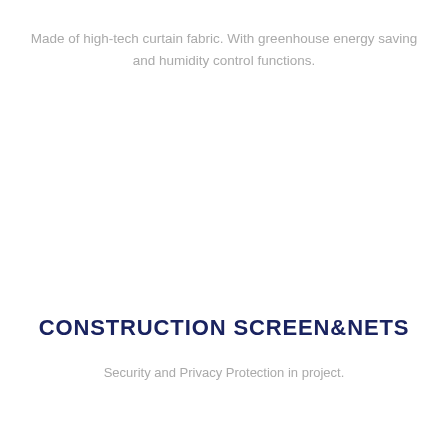Made of high-tech curtain fabric. With greenhouse energy saving and humidity control functions.
CONSTRUCTION SCREEN&NETS
Security and Privacy Protection in project.